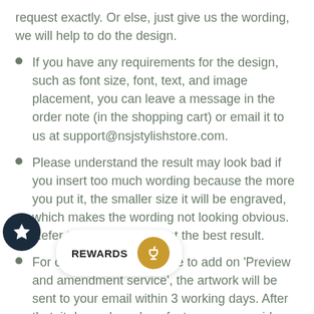request exactly. Or else, just give us the wording, we will help to do the design.
If you have any requirements for the design, such as font size, font, text, and image placement, you can leave a message in the order note (in the shopping cart) or email it to us at support@nsjstylishstore.com.
Please understand the result may look bad if you insert too much wording because the more you put it, the smaller size it will be engraved, which makes the wording not looking obvious. Refer to our sample to get the best result.
For customers who choose to add on 'Preview and amendment service', the artwork will be sent to your email within 3 working days. After that, it depends on how fast you can provide feedback. The estimated shipping date will be extended due to this.
S'
Peninsular Malaysia in 7 working days